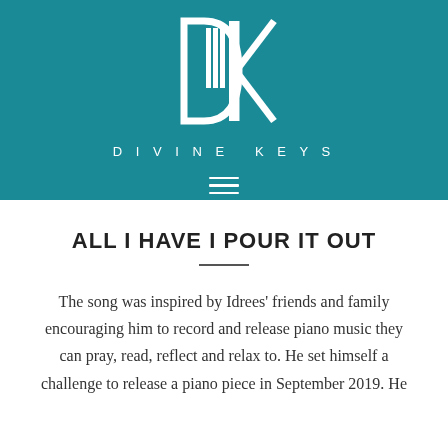[Figure (logo): Divine Keys logo with stylized DK letters and piano keys design in white on teal background, with text 'DIVINE KEYS' below and hamburger menu icon]
ALL I HAVE I POUR IT OUT
The song was inspired by Idrees' friends and family encouraging him to record and release piano music they can pray, read, reflect and relax to. He set himself a challenge to release a piano piece in September 2019. He